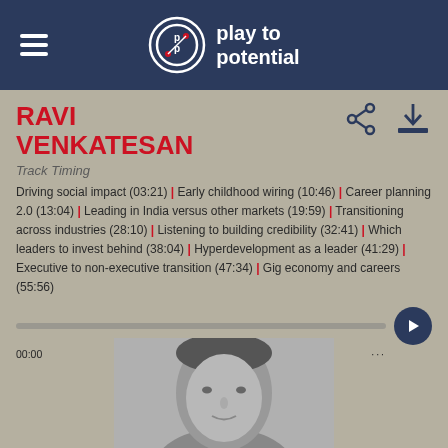play to potential
RAVI VENKATESAN
Track Timing
Driving social impact (03:21) | Early childhood wiring (10:46) | Career planning 2.0 (13:04) | Leading in India versus other markets (19:59) | Transitioning across industries (28:10) | Listening to building credibility (32:41) | Which leaders to invest behind (38:04) | Hyperdevelopment as a leader (41:29) | Executive to non-executive transition (47:34) | Gig economy and careers (55:56)
[Figure (other): Audio player progress bar with play button and timestamp 00:00]
[Figure (photo): Black and white photo of Ravi Venkatesan, partial head and shoulders visible]